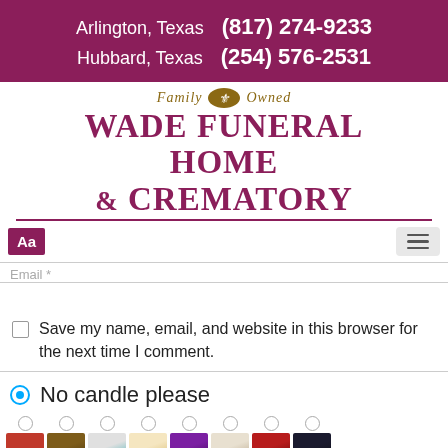Arlington, Texas (817) 274-9233
Hubbard, Texas (254) 576-2531
[Figure (logo): Wade Funeral Home & Crematory logo with Family Owned script text and fleur-de-lis oval emblem]
Aa
Email *
Save my name, email, and website in this browser for the next time I comment.
No candle please
[Figure (photo): Row of candle thumbnail images with radio buttons for selection]